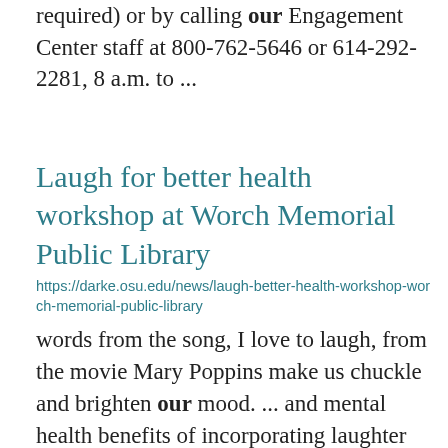required) or by calling our Engagement Center staff at 800-762-5646 or 614-292-2281, 8 a.m. to ...
Laugh for better health workshop at Worch Memorial Public Library
https://darke.osu.edu/news/laugh-better-health-workshop-worch-memorial-public-library
words from the song, I love to laugh, from the movie Mary Poppins make us chuckle and brighten our mood. ... and mental health benefits of incorporating laughter into our lives, no matter our age or our ... way in research on the health impacts of laughter over the last 50-plus years.